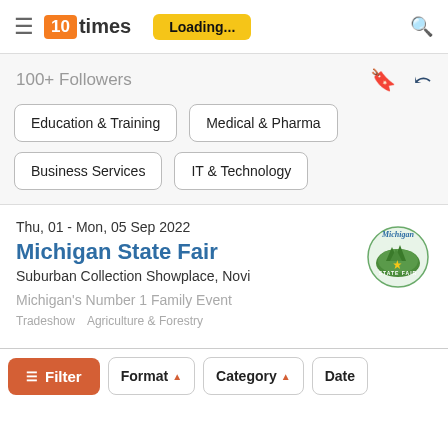10times — Loading...
100+ Followers
Education & Training
Medical & Pharma
Business Services
IT & Technology
Thu, 01 - Mon, 05 Sep 2022
Michigan State Fair
Suburban Collection Showplace, Novi
Michigan's Number 1 Family Event
Tradeshow
Agriculture & Forestry
Filter   Format ▲   Category ▲   Date